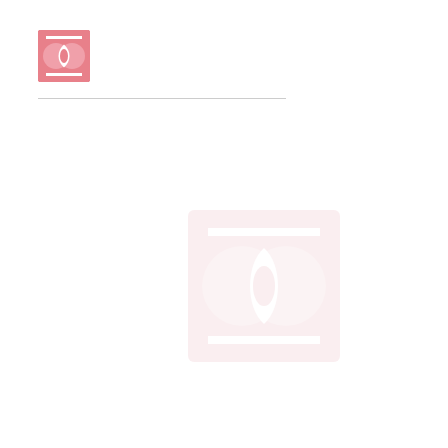[Figure (logo): Small pink Mastercard-style interlocking circles logo in top-left corner]
[Figure (logo): Large faded pink Mastercard-style interlocking circles logo watermark in center of page]